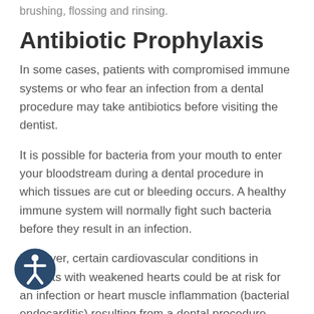brushing, flossing and rinsing.
Antibiotic Prophylaxis
In some cases, patients with compromised immune systems or who fear an infection from a dental procedure may take antibiotics before visiting the dentist.
It is possible for bacteria from your mouth to enter your bloodstream during a dental procedure in which tissues are cut or bleeding occurs. A healthy immune system will normally fight such bacteria before they result in an infection.
However, certain cardiovascular conditions in patients with weakened hearts could be at risk for an infection or heart muscle inflammation (bacterial endocarditis) resulting from a dental procedure.
Patients with heart conditions (including weakened